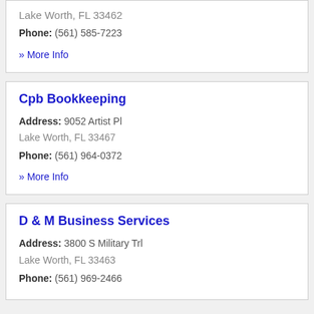Lake Worth, FL 33462
Phone: (561) 585-7223
» More Info
Cpb Bookkeeping
Address: 9052 Artist Pl
Lake Worth, FL 33467
Phone: (561) 964-0372
» More Info
D & M Business Services
Address: 3800 S Military Trl
Lake Worth, FL 33463
Phone: (561) 969-2466